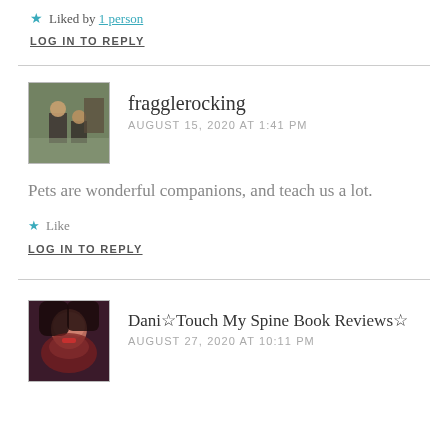★ Liked by 1 person
LOG IN TO REPLY
fragglerocking
AUGUST 15, 2020 AT 1:41 PM
Pets are wonderful companions, and teach us a lot.
★ Like
LOG IN TO REPLY
Dani☆Touch My Spine Book Reviews☆
AUGUST 27, 2020 AT 10:11 PM